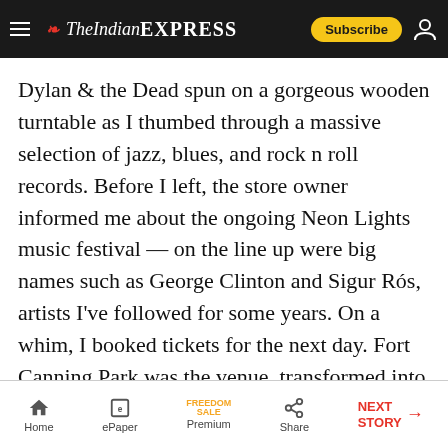The Indian Express — Subscribe
Dylan & the Dead spun on a gorgeous wooden turntable as I thumbed through a massive selection of jazz, blues, and rock n roll records. Before I left, the store owner informed me about the ongoing Neon Lights music festival — on the line up were big names such as George Clinton and Sigur Rós, artists I've followed for some years. On a whim, I booked tickets for the next day. Fort Canning Park was the venue, transformed into a slushy mud-pit on concert day, as a result of the previous night's rains. But even in less than perfect conditions, it was the best live concert
Home | ePaper | Premium | Share | NEXT STORY